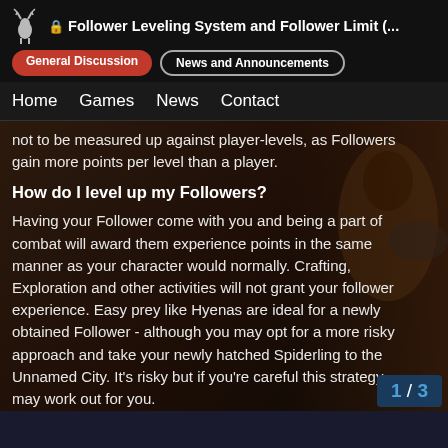🔒 Follower Leveling System and Follower Limit (...
General Discussion
News and Announcements
Home   Games   News   Contact
not to be measured up against player-levels, as Followers gain more points per level than a player.
How do I level up my Followers?
Having your Follower come with you and being a part of combat will award them experience points in the same manner as your character would normally. Crafting, Exploration and other activities will not grant your follower experience. Easy prey like Hyenas are ideal for a newly obtained Follower - although you may opt for a more risky approach and take your newly hatched Spiderling to the Unnamed City. It's risky but if you're careful this strategy may work out for you.
An important note here is that your Followers only gain experience points while they are following          will     able to post your followers in a circle arou                 into this strategy...
1 / 3